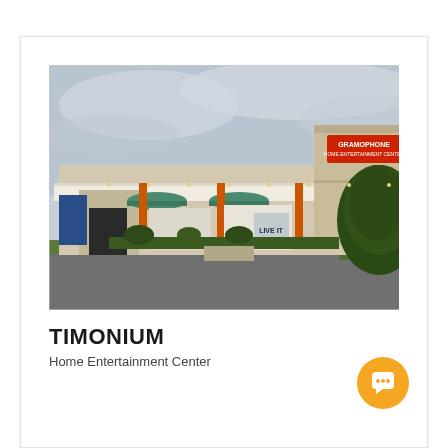[Figure (photo): Exterior photo of a Gramophone Home Entertainment Center store. A single-story commercial building with beige/tan facade, white canopy roof, teal/green awnings over entrance doors, orange accent pillars, and red Gramophone signage on a tall block section. Overcast sky, parking lot in foreground, evergreen shrubs to the right.]
TIMONIUM
Home Entertainment Center